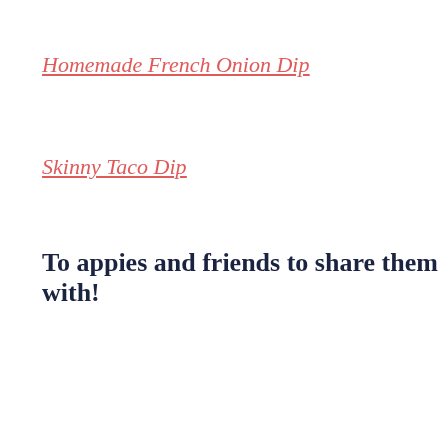Homemade French Onion Dip
Skinny Taco Dip
To appies and friends to share them with!